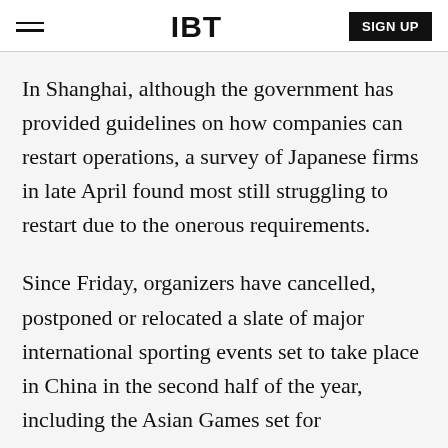IBT | SIGN UP
In Shanghai, although the government has provided guidelines on how companies can restart operations, a survey of Japanese firms in late April found most still struggling to restart due to the onerous requirements.
Since Friday, organizers have cancelled, postponed or relocated a slate of major international sporting events set to take place in China in the second half of the year, including the Asian Games set for